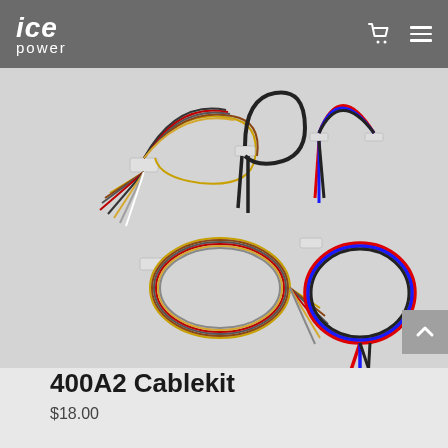ICE power
[Figure (photo): Product photo of 400A2 Cablekit showing multiple cable harnesses with connectors: a multi-colored wire bundle, a black cable, a blue/red/black cable set, a coiled multi-colored harness, and a coiled blue/red/black cable set on a light grey background.]
400A2 Cablekit
$18.00